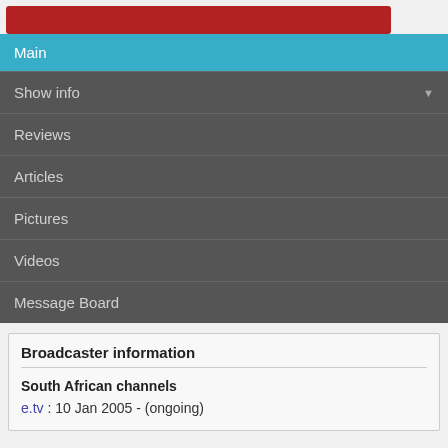[Figure (other): Red banner/logo bar at the top]
Main
Show info
Reviews
Articles
Pictures
Videos
Message Board
Broadcaster information
South African channels
e.tv : 10 Jan 2005 - (ongoing)